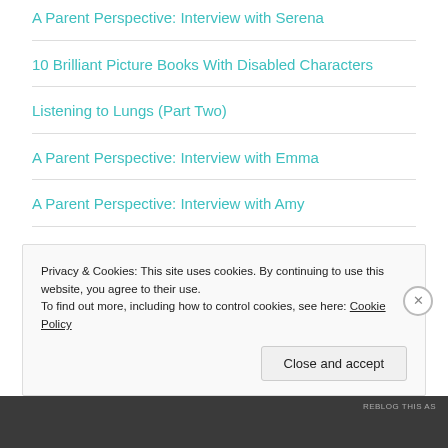A Parent Perspective: Interview with Serena
10 Brilliant Picture Books With Disabled Characters
Listening to Lungs (Part Two)
A Parent Perspective: Interview with Emma
A Parent Perspective: Interview with Amy
A Parent Perspective: Interview with Jo
Privacy & Cookies: This site uses cookies. By continuing to use this website, you agree to their use.
To find out more, including how to control cookies, see here: Cookie Policy
Close and accept